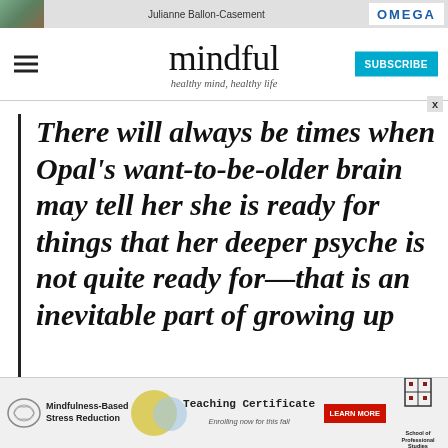[Figure (screenshot): Top advertisement banner with photo, name Julianne Ballon-Casement, and OMEGA logo]
mindful
healthy mind, healthy life
There will always be times when Opal's want-to-be-older brain may tell her she is ready for things that her deeper psyche is not quite ready for—that is an inevitable part of growing up
[Figure (screenshot): Bottom advertisement for Mindfulness-Based Stress Reduction Teaching Certificate, enrolling now for this fall, with Learn More button and School of Professional Studies logo]